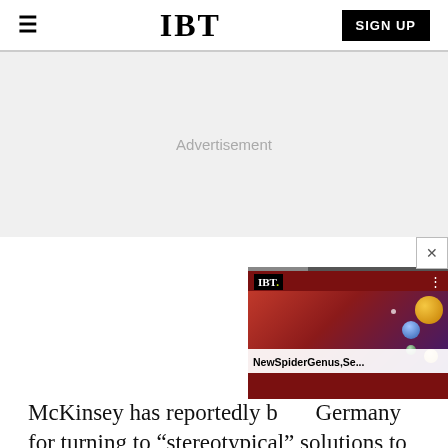IBT
[Figure (other): IBT website header with hamburger menu on left, IBT logo in center, and SIGN UP button on right]
Advertisement
[Figure (screenshot): Video popup overlay showing IBT logo, a colorful image resembling a David Bowie-style portrait with planet spheres, and caption 'NewSpiderGenus,Se...' with close button and progress bar]
McKinsey has reportedly b... Germany for turning to “stereotypical” solutions to management problems. However, Chancellor